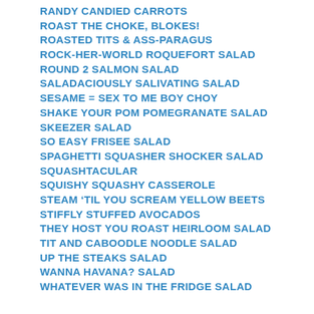RANDY CANDIED CARROTS
ROAST THE CHOKE, BLOKES!
ROASTED TITS & ASS-PARAGUS
ROCK-HER-WORLD ROQUEFORT SALAD
ROUND 2 SALMON SALAD
SALADACIOUSLY SALIVATING SALAD
SESAME = SEX TO ME BOY CHOY
SHAKE YOUR POM POMEGRANATE SALAD
SKEEZER SALAD
SO EASY FRISEE SALAD
SPAGHETTI SQUASHER SHOCKER SALAD
SQUASHTACULAR
SQUISHY SQUASHY CASSEROLE
STEAM ‘TIL YOU SCREAM YELLOW BEETS
STIFFLY STUFFED AVOCADOS
THEY HOST YOU ROAST HEIRLOOM SALAD
TIT AND CABOODLE NOODLE SALAD
UP THE STEAKS SALAD
WANNA HAVANA? SALAD
WHATEVER WAS IN THE FRIDGE SALAD